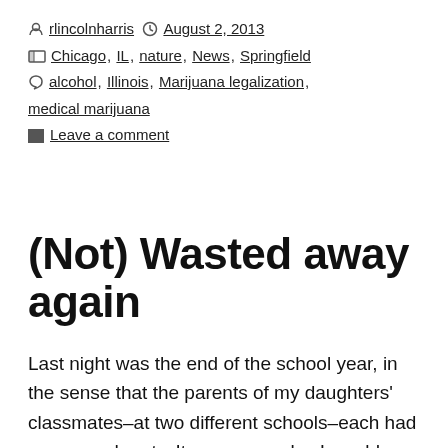by rlincolnharris  August 2, 2013  Chicago, IL, nature, News, Springfield  alcohol, Illinois, Marijuana legalization, medical marijuana  Leave a comment
(Not) Wasted away again
Last night was the end of the school year, in the sense that the parents of my daughters' classmates–at two different schools–each had a year-end party. It years gone by, I would have loaded up on alcohol at parties like these: Beer, mixed drinks, wine, it didn't matter as long as it